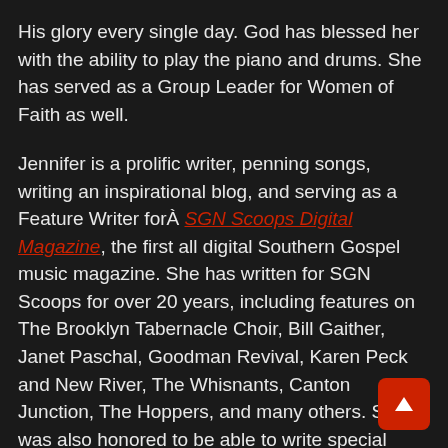His glory every single day. God has blessed her with the ability to play the piano and drums. She has served as a Group Leader for Women of Faith as well.
Jennifer is a prolific writer, penning songs, writing an inspirational blog, and serving as a Feature Writer forÂ SGN Scoops Digital Magazine, the first all digital Southern Gospel music magazine. She has written for SGN Scoops for over 20 years, including features on The Brooklyn Tabernacle Choir, Bill Gaither, Janet Paschal, Goodman Revival, Karen Peck and New River, The Whisnants, Canton Junction, The Hoppers, and many others. She was also honored to be able to write special tributes to Lari Goss and LaBreeska Hemphill.
Jennifer recently published her first book, an inspirational autobiography titled,Â When You’re in the Sunset, There’s Sunshine Awaiting You, which she hopes will inspire others through its message of hope. You can read a complimentary chapter by clicking thisÂ link and you can